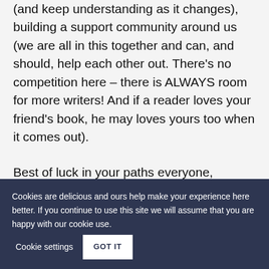(and keep understanding as it changes), building a support community around us (we are all in this together and can, and should, help each other out. There's no competition here – there is ALWAYS room for more writers! And if a reader loves your friend's book, he may loves yours too when it comes out).
Best of luck in your paths everyone, whatever that may be!
Cookies are delicious and ours help make your experience here better. If you continue to use this site we will assume that you are happy with our cookie use. Cookie settings GOT IT